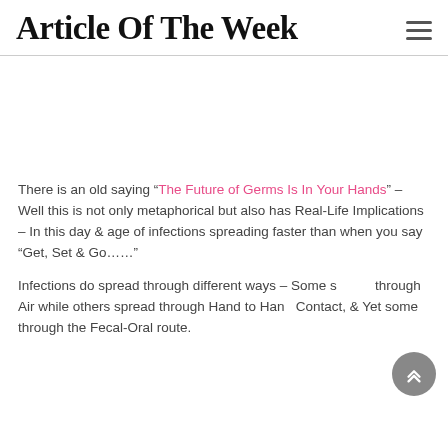Article Of The Week
There is an old saying “The Future of Germs Is In Your Hands” – Well this is not only metaphorical but also has Real-Life Implications – In this day & age of infections spreading faster than when you say “Get, Set & Go…….”
Infections do spread through different ways – Some spread through Air while others spread through Hand to Hand Contact, & Yet some through the Fecal-Oral route.